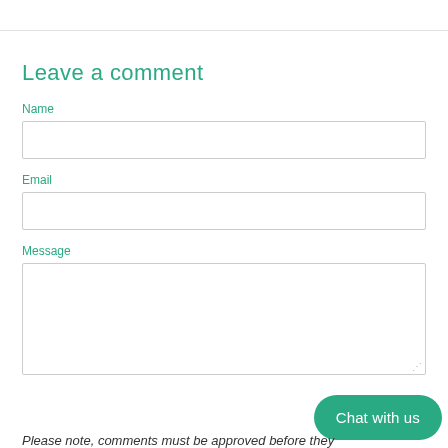Leave a comment
Name
Email
Message
Chat with us
Please note, comments must be approved before they